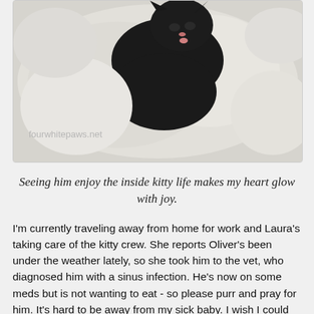[Figure (photo): A black cat resting on or against a white fabric/blanket, with a watermark 'fourwhitepaws.net' in the lower left area of the image.]
Seeing him enjoy the inside kitty life makes my heart glow with joy.
I'm currently traveling away from home for work and Laura's taking care of the kitty crew. She reports Oliver's been under the weather lately, so she took him to the vet, who diagnosed him with a sinus infection. He's now on some meds but is not wanting to eat - so please purr and pray for him. It's hard to be away from my sick baby. I wish I could snuggle him in my lap and give him some healing cuddles, but that'll have to wait until Friday, when I get back home. Laura reported that he's finally eating this morning and seems more himself - yea!
Laura reports that Rose has been exploring the world and